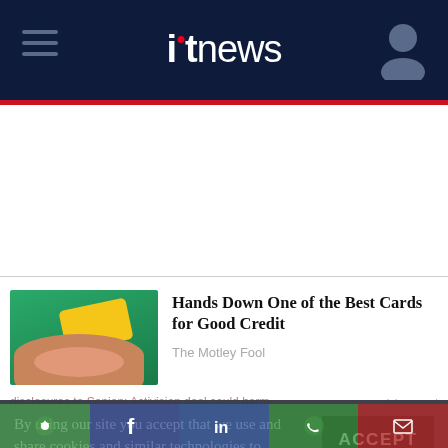itnews
[Figure (photo): Hand holding a yellow credit card against a green background]
Hands Down One of the Best Cards for Good Credit
The Motley Fool
bianomi
By using our site you accept that we use and share cookies and similar technologies to perform analytics and provide content and ads tailored to your interests. By continuing to use our site, you consent to this. Please see our Cookie Policy for more information.